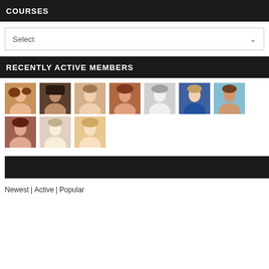COURSES
Select
RECENTLY ACTIVE MEMBERS
[Figure (photo): Grid of 10 member profile photos showing recently active members of an online community or course platform]
Newest | Active | Popular